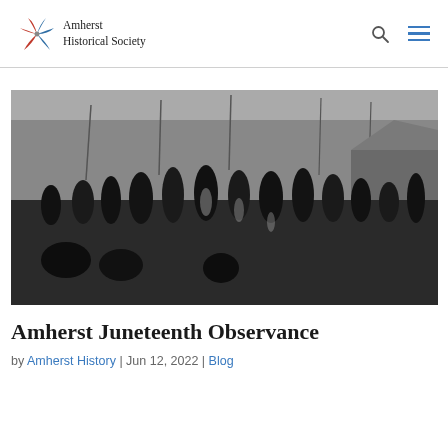Amherst Historical Society
[Figure (photo): Historical black and white photograph of a large group of African American men gathered outdoors near a waterfront with ships, docks, and wooden buildings in the background.]
Amherst Juneteenth Observance
by Amherst History | Jun 12, 2022 | Blog